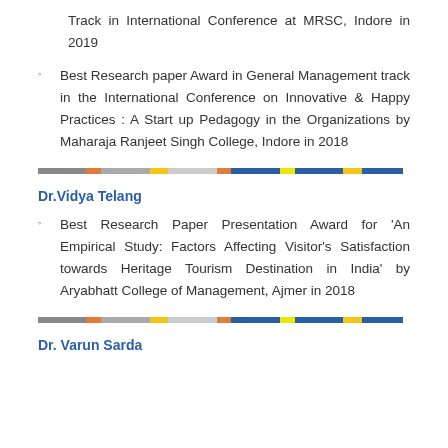Track in International Conference at MRSC, Indore in 2019
Best Research paper Award in General Management track in the International Conference on Innovative & Happy Practices : A Start up Pedagogy in the Organizations by Maharaja Ranjeet Singh College, Indore in 2018
Dr.Vidya Telang
Best Research Paper Presentation Award for 'An Empirical Study: Factors Affecting Visitor's Satisfaction towards Heritage Tourism Destination in India' by Aryabhatt College of Management, Ajmer in 2018
Dr. Varun Sarda